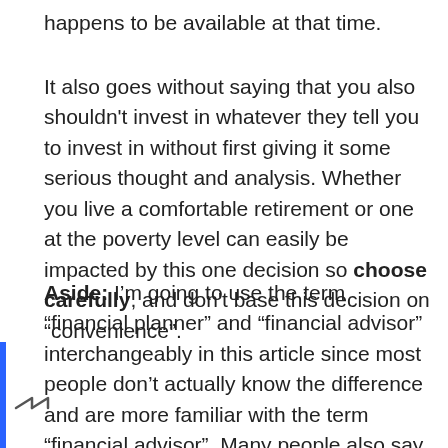happens to be available at that time.
It also goes without saying that you also shouldn't invest in whatever they tell you to invest in without first giving it some serious thought and analysis. Whether you live a comfortable retirement or one at the poverty level can easily be impacted by this one decision so choose carefully, and don't base this decision on “convenience”.
Aside: I’m going to use the term “financial planner” and “financial advisor” interchangeably in this article since most people don’t actually know the difference and are more familiar with the term “financial advisor”. Many people also say “financial advisor” when they really mean “financial planner”, so for the purposes of this article, I’m referring to the person you go to when